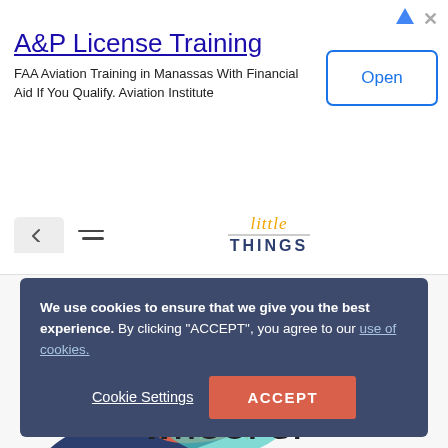[Figure (screenshot): Ad banner for A&P License Training with Open button and arrow icon]
A&P License Training
FAA Aviation Training in Manassas With Financial Aid If You Qualify. Aviation Institute
[Figure (logo): Little Things website logo with hamburger menu and back arrow navigation]
We use cookies to ensure that we give you the best experience. By clicking “ACCEPT”, you agree to our use of cookies.
Cookie Settings
ACCEPT
[Figure (illustration): Illustration of a pug dog lying on its back with colorful paint splash decorations and paw prints]
WHOOPS!